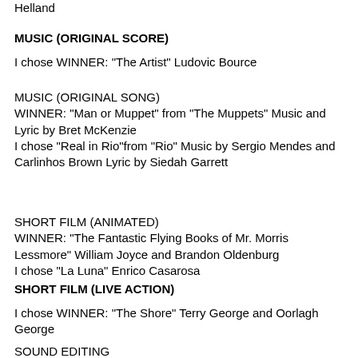Helland
MUSIC (ORIGINAL SCORE)
I chose WINNER: "The Artist" Ludovic Bource
MUSIC (ORIGINAL SONG)
WINNER: "Man or Muppet" from "The Muppets" Music and Lyric by Bret McKenzie
I chose "Real in Rio"from "Rio" Music by Sergio Mendes and Carlinhos Brown Lyric by Siedah Garrett
SHORT FILM (ANIMATED)
WINNER: "The Fantastic Flying Books of Mr. Morris Lessmore" William Joyce and Brandon Oldenburg
I chose "La Luna" Enrico Casarosa
SHORT FILM (LIVE ACTION)
I chose WINNER: "The Shore" Terry George and Oorlagh George
SOUND EDITING